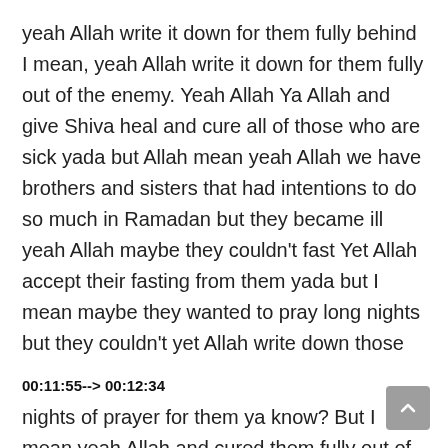yeah Allah write it down for them fully behind I mean, yeah Allah write it down for them fully out of the enemy. Yeah Allah Ya Allah and give Shiva heal and cure all of those who are sick yada but Allah mean yeah Allah we have brothers and sisters that had intentions to do so much in Ramadan but they became ill yeah Allah maybe they couldn't fast Yet Allah accept their fasting from them yada but I mean maybe they wanted to pray long nights but they couldn't yet Allah write down those
00:11:55--> 00:12:34
nights of prayer for them ya know? But I mean yeah Allah and cured them fully out of it I mean, Allah mystery model Blondo model done Muslimeen Oh ALLAH cure our ILL ones and cure the ill ones of the Muslims all over yet I've been I mean yeah Allah cure them yeah a little